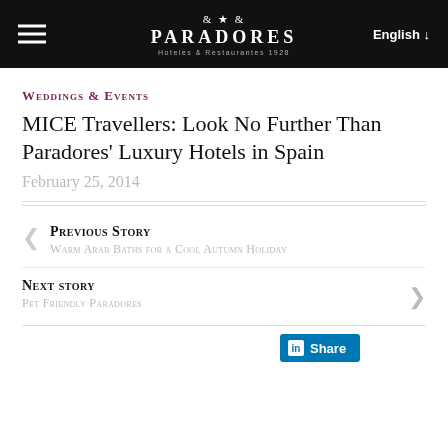PARADORES — Hoteles & Restaurantes 1928 | English
Weddings & Events
MICE Travellers: Look No Further Than Paradores' Luxury Hotels in Spain
February 25, 2014
Previous Story
Warm Arab Baths for a Cool Autumn Holiday
Next story
Pet Friendly Paradores
[Figure (logo): LinkedIn Share button]